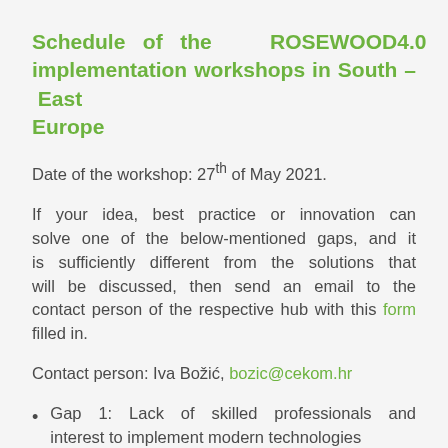Schedule of the ROSEWOOD4.0 implementation workshops in South – East Europe
Date of the workshop: 27th of May 2021.
If your idea, best practice or innovation can solve one of the below-mentioned gaps, and it is sufficiently different from the solutions that will be discussed, then send an email to the contact person of the respective hub with this form filled in.
Contact person: Iva Božić, bozic@cekom.hr
Gap 1: Lack of skilled professionals and interest to implement modern technologies